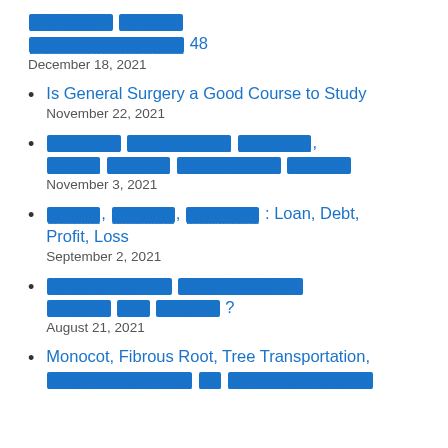[redacted] [redacted] [redacted] 48 — December 18, 2021
Is General Surgery a Good Course to Study — November 22, 2021
[redacted] [redacted] [redacted], [redacted] [redacted] [redacted] [redacted] — November 3, 2021
[redacted], [redacted], [redacted] : Loan, Debt, Profit, Loss — September 2, 2021
[redacted] [redacted] [redacted] [redacted] [redacted] ? — August 21, 2021
Monocot, Fibrous Root, Tree Transportation, [redacted] [redacted]